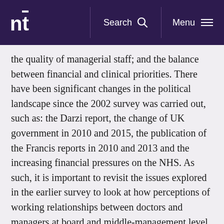nt | Search | Menu
the quality of managerial staff; and the balance between financial and clinical priorities. There have been significant changes in the political landscape since the 2002 survey was carried out, such as: the Darzi report, the change of UK government in 2010 and 2015, the publication of the Francis reports in 2010 and 2013 and the increasing financial pressures on the NHS. As such, it is important to revisit the issues explored in the earlier survey to look at how perceptions of working relationships between doctors and managers at board and middle-management level have changed over time.
Similar to the initial findings, the 2015 survey found